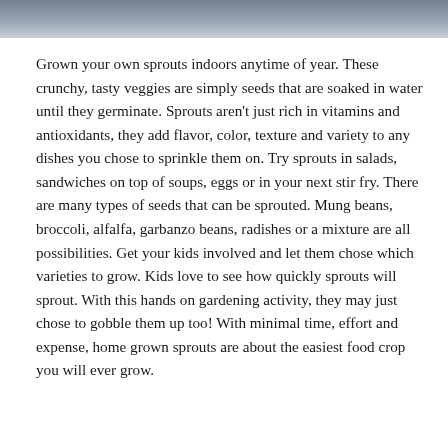[Figure (photo): Decorative header image showing vegetables or sprouts, dark bluish-grey tones at the top of the page]
Grown your own sprouts indoors anytime of year.  These crunchy, tasty veggies are simply seeds that are soaked in water until they germinate. Sprouts aren't just rich in vitamins and antioxidants,  they add flavor, color, texture and variety to any dishes you chose to sprinkle them on.  Try sprouts in salads, sandwiches on top of soups, eggs or in your next stir fry. There are many types of seeds that can be sprouted. Mung beans, broccoli, alfalfa, garbanzo beans, radishes or a mixture are all possibilities. Get your kids involved and let them chose which varieties to grow.   Kids love to see how quickly sprouts will sprout. With this hands on gardening activity, they may just chose to gobble them up too! With minimal time, effort and expense, home grown sprouts are about the easiest food crop you will ever grow.